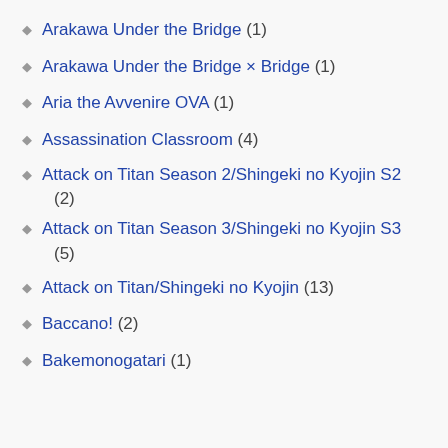Arakawa Under the Bridge (1)
Arakawa Under the Bridge × Bridge (1)
Aria the Avvenire OVA (1)
Assassination Classroom (4)
Attack on Titan Season 2/Shingeki no Kyojin S2 (2)
Attack on Titan Season 3/Shingeki no Kyojin S3 (5)
Attack on Titan/Shingeki no Kyojin (13)
Baccano! (2)
Bakemonogatari (1)